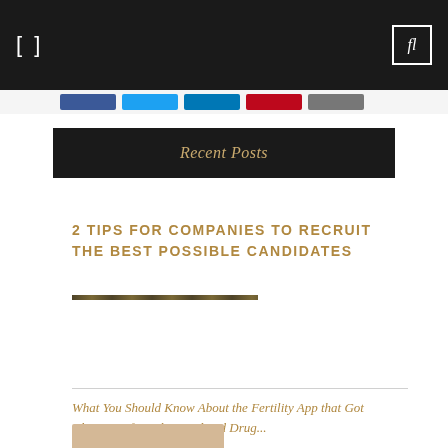fl
[Figure (infographic): Social share buttons: Facebook, Twitter, LinkedIn, Pinterest, Email]
Recent Posts
2 TIPS FOR COMPANIES TO RECRUIT THE BEST POSSIBLE CANDIDATES
What You Should Know About the Fertility App that Got Clearance from the Food and Drug...
[Figure (photo): Partial thumbnail image at bottom of page]